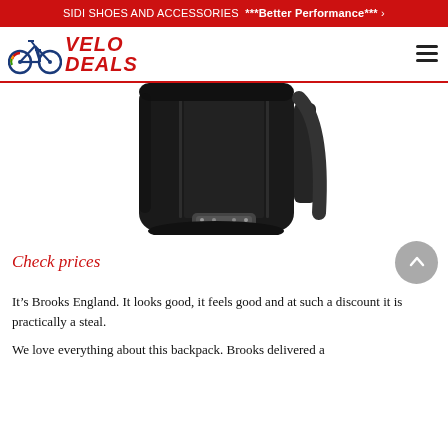SIDI SHOES AND ACCESSORIES ***Better Performance*** >
[Figure (logo): Velo Deals logo with bicycle icon and red italic text VELO DEALS]
[Figure (photo): Black Brooks England backpack, close-up view showing front panel with vertical seams and silver logo badge at bottom]
Check prices
It’s Brooks England. It looks good, it feels good and at such a discount it is practically a steal.
We love everything about this backpack. Brooks delivered a